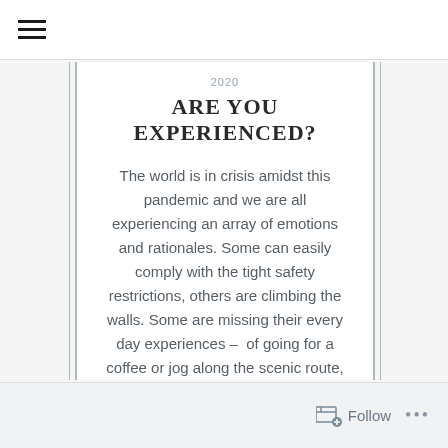≡
2020
ARE YOU EXPERIENCED?
The world is in crisis amidst this pandemic and we are all experiencing an array of emotions and rationales. Some can easily comply with the tight safety restrictions, others are climbing the walls. Some are missing their every day experiences – of going for a coffee or jog along the scenic route, even just the [...]
Follow ...